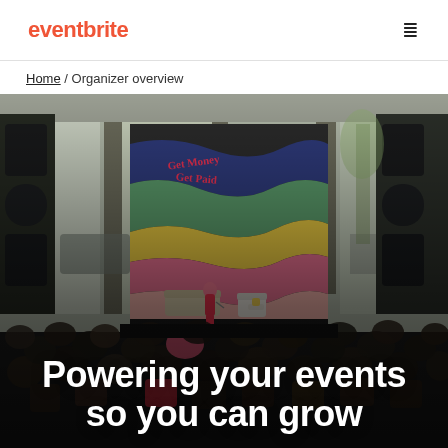eventbrite
Home / Organizer overview
[Figure (photo): A speaker in a pink outfit stands on a stage in front of a colorful wavy backdrop reading 'Get Money Get Paid', addressing a large seated audience in a bright venue with large windows showing city street outside.]
Powering your events so you can grow